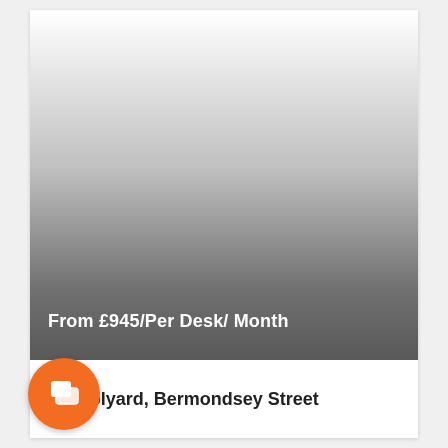[Figure (photo): A property listing card showing a gradient image (white to dark gray, simulating a photo with overlay) with the price text 'From £945/Per Desk/ Month' overlaid at the bottom of the image area.]
From £945/Per Desk/ Month
Woolyard, Bermondsey Street